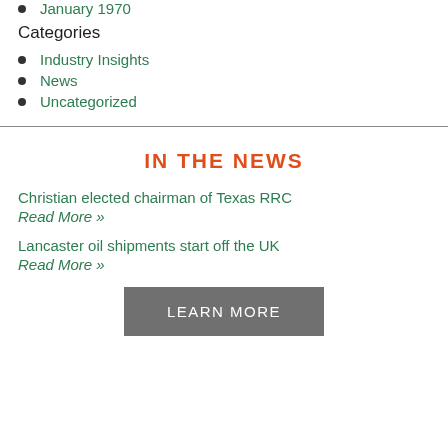January 1970
Categories
Industry Insights
News
Uncategorized
IN THE NEWS
Christian elected chairman of Texas RRC
Read More »
Lancaster oil shipments start off the UK
Read More »
LEARN MORE